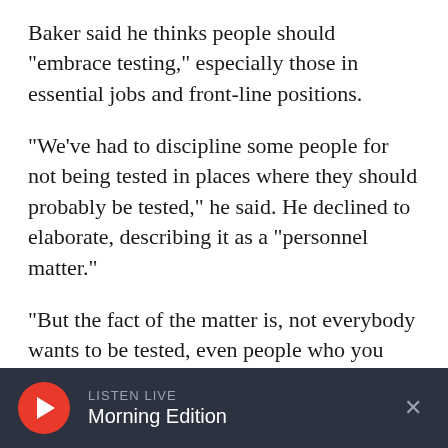Baker said he thinks people should "embrace testing," especially those in essential jobs and front-line positions.
"We've had to discipline some people for not being tested in places where they should probably be tested," he said. He declined to elaborate, describing it as a "personnel matter."
"But the fact of the matter is, not everybody wants to be tested, even people who you would think would consider that to be an appropriate thing given their role and their responsibility," Baker
LISTEN LIVE Morning Edition